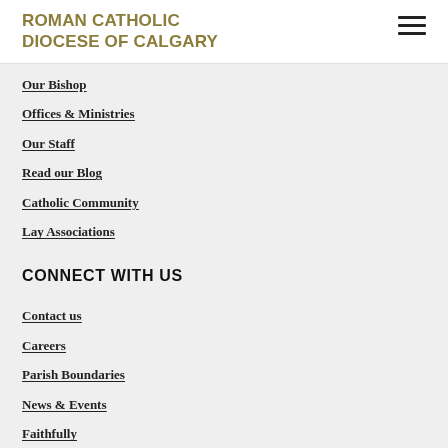ROMAN CATHOLIC DIOCESE OF CALGARY
Our Bishop
Offices & Ministries
Our Staff
Read our Blog
Catholic Community
Lay Associations
CONNECT WITH US
Contact us
Careers
Parish Boundaries
News & Events
Faithfully
Reporting Abuse